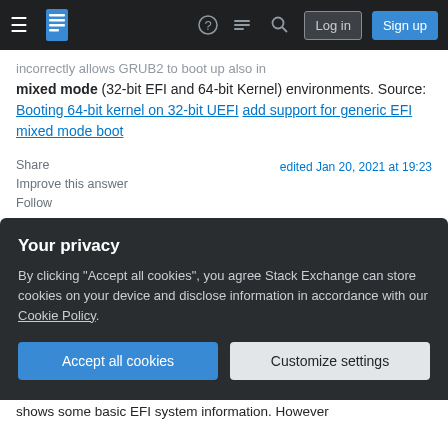Stack Exchange navigation bar with hamburger menu, logo, help, chat, search, Log in, Sign up
incorrectly allows GRUB2 to boot up also in mixed mode (32-bit EFI and 64-bit Kernel) environments. Source: Booting 64-bit kernel on 32-bit UEFI add support for generic EFI mixed mode boot
Share
Improve this answer
Follow
edited Jan 20, 2021 at 19:23
answered Jan 20, 2021 at 10:12
Clemens
56 ● 4
Your privacy
By clicking "Accept all cookies", you agree Stack Exchange can store cookies on your device and disclose information in accordance with our Cookie Policy.
Accept all cookies  Customize settings
shows some basic EFI system information. However